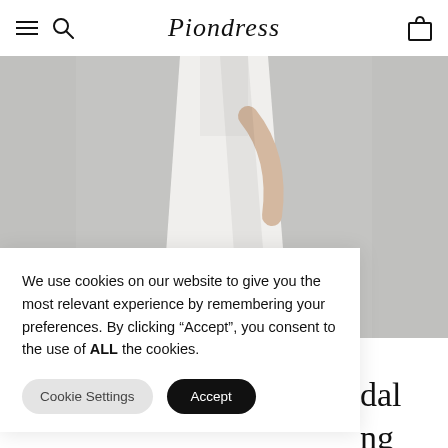Piondress
[Figure (photo): A model wearing a white wide-leg bridal outfit, photographed from the torso down against a grey background.]
We use cookies on our website to give you the most relevant experience by remembering your preferences. By clicking “Accept”, you consent to the use of ALL the cookies.
Cookie Settings  Accept
dal
ng